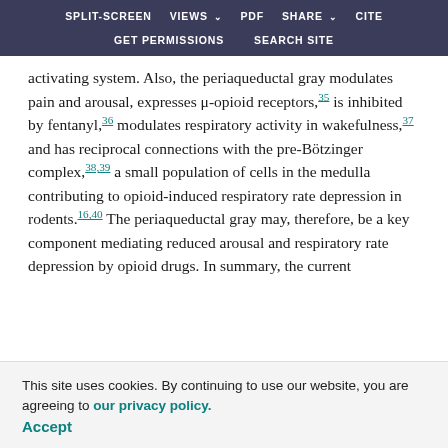SPLIT-SCREEN | VIEWS | PDF | SHARE | CITE | GET PERMISSIONS | SEARCH SITE
activating system. Also, the periaqueductal gray modulates pain and arousal, expresses μ-opioid receptors,35 is inhibited by fentanyl,36 modulates respiratory activity in wakefulness,37 and has reciprocal connections with the pre-Bötzinger complex,38,39 a small population of cells in the medulla contributing to opioid-induced respiratory rate depression in rodents.16,40 The periaqueductal gray may, therefore, be a key component mediating reduced arousal and respiratory rate depression by opioid drugs. In summary, the current
This site uses cookies. By continuing to use our website, you are agreeing to our privacy policy. Accept